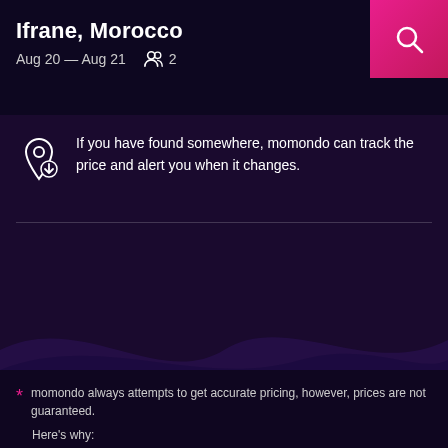Ifrane, Morocco
Aug 20 — Aug 21   2
If you have found somewhere, momondo can track the price and alert you when it changes.
Search hotel deals
momondo always attempts to get accurate pricing, however, prices are not guaranteed.
Here's why:
momondo is not the seller